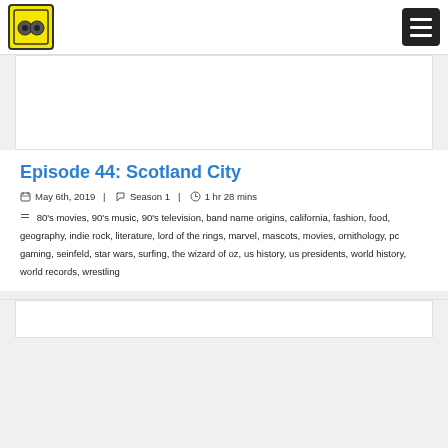Logo | Hamburger menu
[Figure (other): Advertisement banner placeholder]
Episode 44: Scotland City
May 6th, 2019  |  Season 1  |  1 hr 28 mins
80's movies, 90's music, 90's television, band name origins, california, fashion, food, geography, indie rock, literature, lord of the rings, marvel, mascots, movies, ornithology, pc gaming, seinfeld, star wars, surfing, the wizard of oz, us history, us presidents, world history, world records, wrestling
[Figure (other): Bottom advertisement banner placeholder]